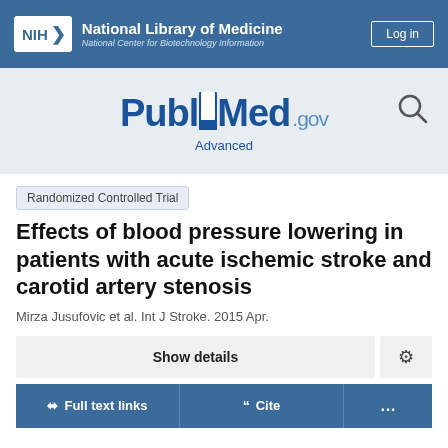NIH National Library of Medicine National Center for Biotechnology Information | Log in
[Figure (logo): PubMed.gov logo with search icon and Advanced link]
Randomized Controlled Trial
Effects of blood pressure lowering in patients with acute ischemic stroke and carotid artery stenosis
Mirza Jusufovic et al. Int J Stroke. 2015 Apr.
Show details
Full text links | Cite | ...